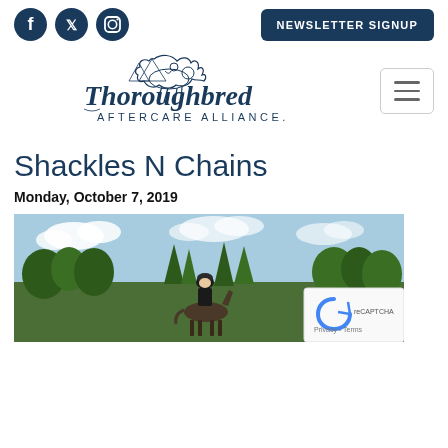Social icons (Facebook, Twitter, Instagram) | NEWSLETTER SIGNUP
[Figure (logo): Thoroughbred Aftercare Alliance logo with horse and rider illustration and text 'Thoroughbred AFTERCARE ALLIANCE.']
Shackles N Chains
Monday, October 7, 2019
[Figure (photo): Person wearing a black helmet and black shirt, on a horse, with trees and a partly cloudy sky in the background.]